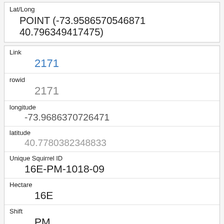| Field | Value |
| --- | --- |
| Lat/Long | POINT (-73.9586570546871 40.796349417475) |
| Link | 2171 |
| rowid | 2171 |
| longitude | -73.9686370726471 |
| latitude | 40.7780382348833 |
| Unique Squirrel ID | 16E-PM-1018-09 |
| Hectare | 16E |
| Shift | PM |
| Date | 10182018 |
| Hectare Squirrel Number | 9 |